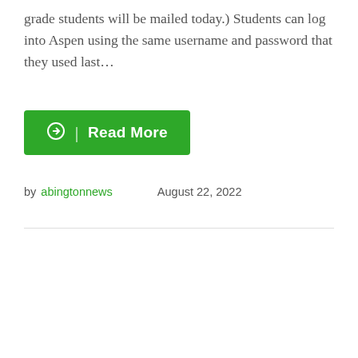grade students will be mailed today.) Students can log into Aspen using the same username and password that they used last...
Read More
by abingtonnews    August 22, 2022